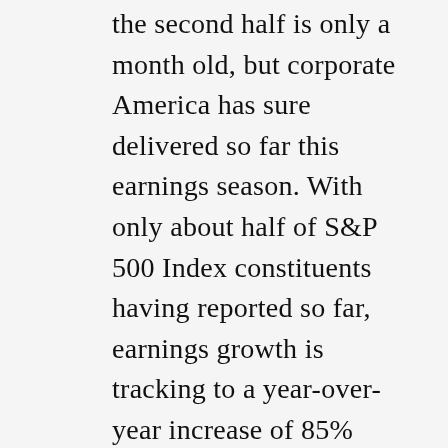the second half is only a month old, but corporate America has sure delivered so far this earnings season. With only about half of S&P 500 Index constituents having reported so far, earnings growth is tracking to a year-over-year increase of 85% (source: FactSet), more than 20 percentage points above the consensus expectation when earnings season began and well ahead of our optimistic upside target in the mid-to-high-70s. We thought the bar had been raised too high for that much upside. Clearly we were wrong.